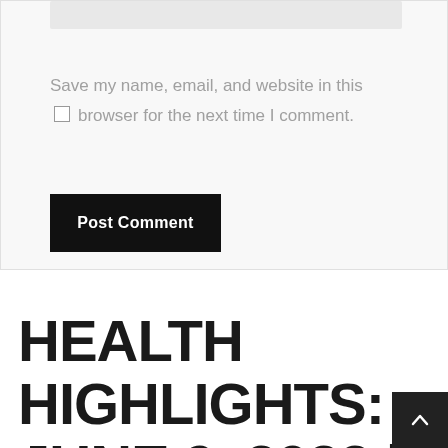[Figure (screenshot): A form section with a light gray input bar at top, a checkbox with label 'Save my name, email, and website in this browser for the next time I comment.', and a black 'Post Comment' button below.]
Save my name, email, and website in this browser for the next time I comment.
HEALTH HIGHLIGHTS: JUNE 9, 2022 | HEALTHY AGING | TUCSON.COM – ARIZONA